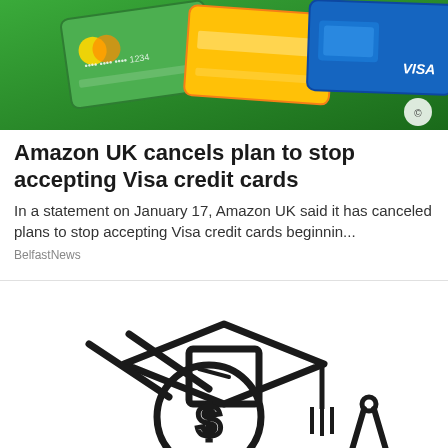[Figure (photo): Top portion of a photo showing credit/payment cards on a green background, partially cropped]
Amazon UK cancels plan to stop accepting Visa credit cards
In a statement on January 17, Amazon UK said it has canceled plans to stop accepting Visa credit cards beginnin...
BelfastNews
[Figure (illustration): Line drawing illustration showing a dollar coin/money roll wearing a graduation cap, sitting on stacked books/shelves, with a compass/divider tool on the right side]